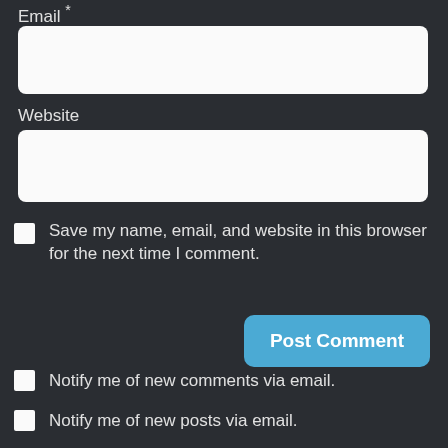Email *
Website
Save my name, email, and website in this browser for the next time I comment.
Post Comment
Notify me of new comments via email.
Notify me of new posts via email.